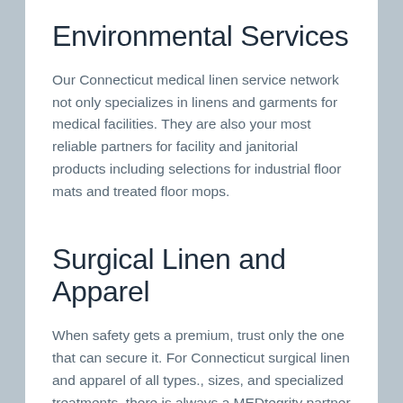Environmental Services
Our Connecticut medical linen service network not only specializes in linens and garments for medical facilities. They are also your most reliable partners for facility and janitorial products including selections for industrial floor mats and treated floor mops.
Surgical Linen and Apparel
When safety gets a premium, trust only the one that can secure it. For Connecticut surgical linen and apparel of all types., sizes, and specialized treatments, there is always a MEDtegrity partner to take care of your needs.